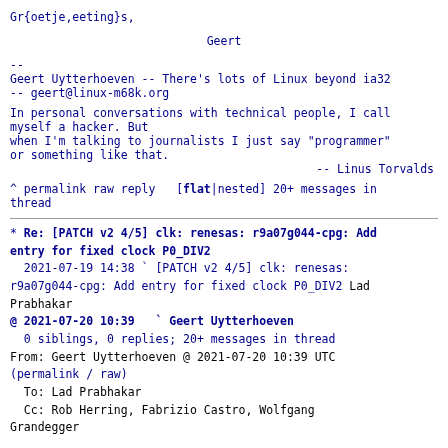Gr{oetje,eeting}s,
Geert
--
Geert Uytterhoeven -- There's lots of Linux beyond ia32
-- geert@linux-m68k.org
In personal conversations with technical people, I call myself a hacker. But
when I'm talking to journalists I just say "programmer"
or something like that.
                                -- Linus Torvalds
^ permalink raw reply  [flat|nested] 20+ messages in thread
* Re: [PATCH v2 4/5] clk: renesas: r9a07g044-cpg: Add entry for fixed clock P0_DIV2
  2021-07-19 14:38 ` [PATCH v2 4/5] clk: renesas: r9a07g044-cpg: Add entry for fixed clock P0_DIV2 Lad Prabhakar
@ 2021-07-20 10:39   ` Geert Uytterhoeven
  0 siblings, 0 replies; 20+ messages in thread
From: Geert Uytterhoeven @ 2021-07-20 10:39 UTC
(permalink / raw)
  To: Lad Prabhakar
  Cc: Rob Herring, Fabrizio Castro, Wolfgang Grandegger